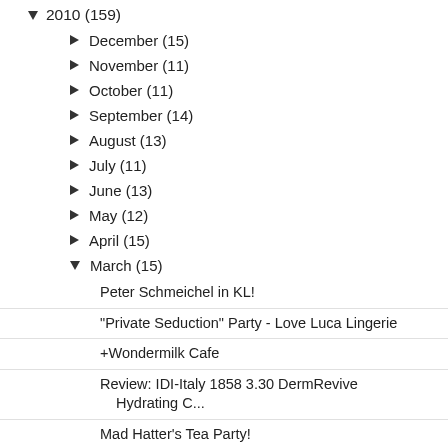▼ 2010 (159)
► December (15)
► November (11)
► October (11)
► September (14)
► August (13)
► July (11)
► June (13)
► May (12)
► April (15)
▼ March (15)
Peter Schmeichel in KL!
"Private Seduction" Party - Love Luca Lingerie
+Wondermilk Cafe
Review: IDI-Italy 1858 3.30 DermRevive Hydrating C...
Mad Hatter's Tea Party!